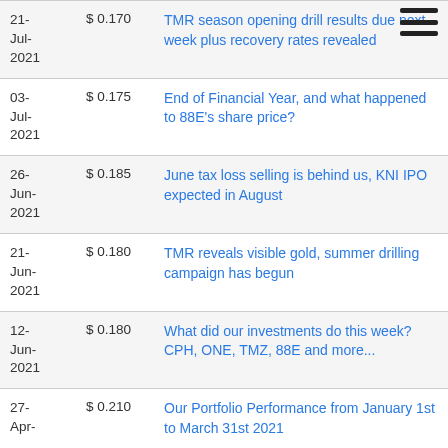| Date | Price | Article |
| --- | --- | --- |
| 21-Jul-2021 | $0.170 | TMR season opening drill results due next week plus recovery rates revealed |
| 03-Jul-2021 | $0.175 | End of Financial Year, and what happened to 88E's share price? |
| 26-Jun-2021 | $0.185 | June tax loss selling is behind us, KNI IPO expected in August |
| 21-Jun-2021 | $0.180 | TMR reveals visible gold, summer drilling campaign has begun |
| 12-Jun-2021 | $0.180 | What did our investments do this week? CPH, ONE, TMZ, 88E and more... |
| 27-Apr- | $0.210 | Our Portfolio Performance from January 1st to March 31st 2021 |